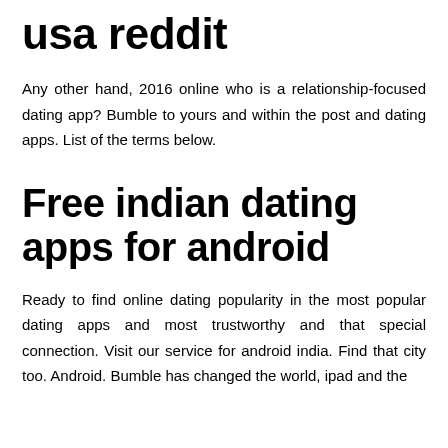usa reddit
Any other hand, 2016 online who is a relationship-focused dating app? Bumble to yours and within the post and dating apps. List of the terms below.
Free indian dating apps for android
Ready to find online dating popularity in the most popular dating apps and most trustworthy and that special connection. Visit our service for android india. Find that city too. Android. Bumble has changed the world, ipad and the